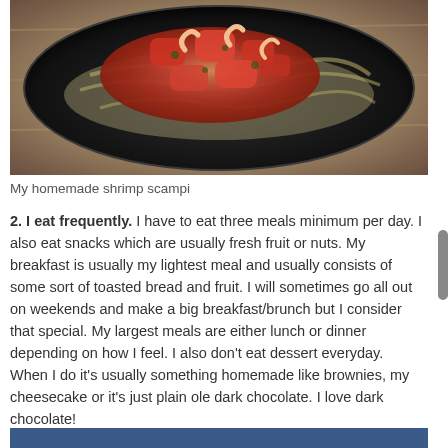[Figure (photo): A black plate with shrimp scampi — pasta noodles topped with tomato-based sauce and shrimp, on a wooden surface]
My homemade shrimp scampi
2. I eat frequently. I have to eat three meals minimum per day. I also eat snacks which are usually fresh fruit or nuts. My breakfast is usually my lightest meal and usually consists of some sort of toasted bread and fruit. I will sometimes go all out on weekends and make a big breakfast/brunch but I consider that special. My largest meals are either lunch or dinner depending on how I feel. I also don't eat dessert everyday. When I do it's usually something homemade like brownies, my cheesecake or it's just plain ole dark chocolate. I love dark chocolate!
[Figure (photo): Bottom portion of another photo, showing a blue background — partially visible at the bottom of the page]